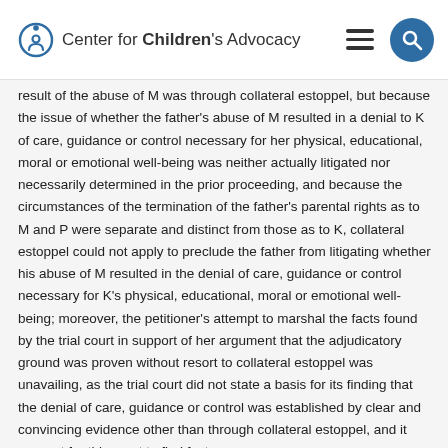Center for Children's Advocacy
result of the abuse of M was through collateral estoppel, but because the issue of whether the father's abuse of M resulted in a denial to K of care, guidance or control necessary for her physical, educational, moral or emotional well-being was neither actually litigated nor necessarily determined in the prior proceeding, and because the circumstances of the termination of the father's parental rights as to M and P were separate and distinct from those as to K, collateral estoppel could not apply to preclude the father from litigating whether his abuse of M resulted in the denial of care, guidance or control necessary for K's physical, educational, moral or emotional well-being; moreover, the petitioner's attempt to marshal the facts found by the trial court in support of her argument that the adjudicatory ground was proven without resort to collateral estoppel was unavailing, as the trial court did not state a basis for its finding that the denial of care, guidance or control was established by clear and convincing evidence other than through collateral estoppel, and it was not for this court to find facts.